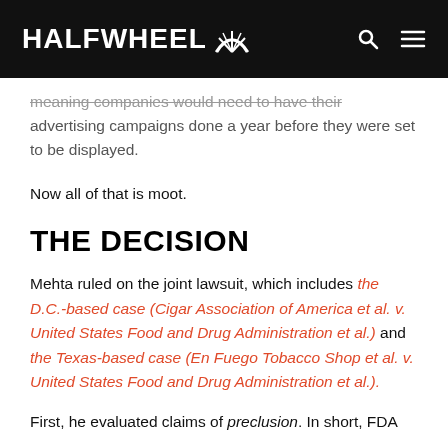HALFWHEEL
meaning companies would need to have their advertising campaigns done a year before they were set to be displayed.
Now all of that is moot.
THE DECISION
Mehta ruled on the joint lawsuit, which includes the D.C.-based case (Cigar Association of America et al. v. United States Food and Drug Administration et al.) and the Texas-based case (En Fuego Tobacco Shop et al. v. United States Food and Drug Administration et al.).
First, he evaluated claims of preclusion. In short, FDA